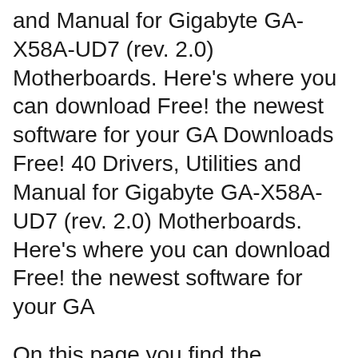and Manual for Gigabyte GA-X58A-UD7 (rev. 2.0) Motherboards. Here's where you can download Free! the newest software for your GA Downloads Free! 40 Drivers, Utilities and Manual for Gigabyte GA-X58A-UD7 (rev. 2.0) Motherboards. Here's where you can download Free! the newest software for your GA
On this page you find the Gigabyte GA-X58A-UD3R manual. Please read the instructions in this operator manual carefully before using the product.If you have any Can't access bios menu and motherboard is GA-X58A-UD3R. Tags: Gigabyte Ga-x58a-ud3r desktop motherboar... BIOS. From the manual: